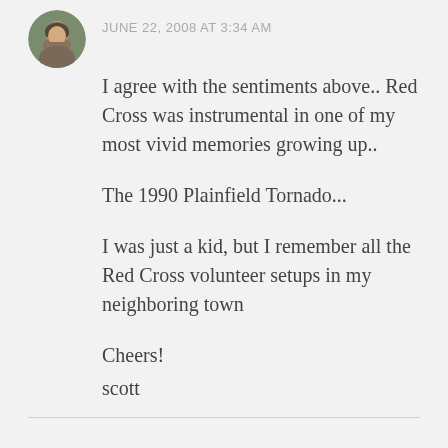[Figure (photo): Circular avatar photo of a man with a beard, shown from shoulders up, with green foliage in background]
JUNE 22, 2008 AT 3:34 AM
I agree with the sentiments above.. Red Cross was instrumental in one of my most vivid memories growing up..

The 1990 Plainfield Tornado...

I was just a kid, but I remember all the Red Cross volunteer setups in my neighboring town

Cheers!
scott